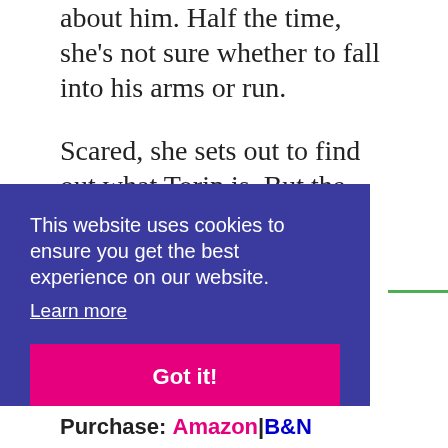about him. Half the time, she's not sure whether to fall into his arms or run.
Scared, she sets out to find out what Torin is. But the closer she gets to the truth the more she uncovers something sinister about Torin. What Torin is goes back to an ancient mythology and Raine is somehow part of it. Not only is she involved, but she discovers that the wrong choice will cost Raine her life.
This website uses cookies to ensure you get the best experience on our website.
Learn more
Got it!
+Add to goodreads
Purchase: Amazon|B&N